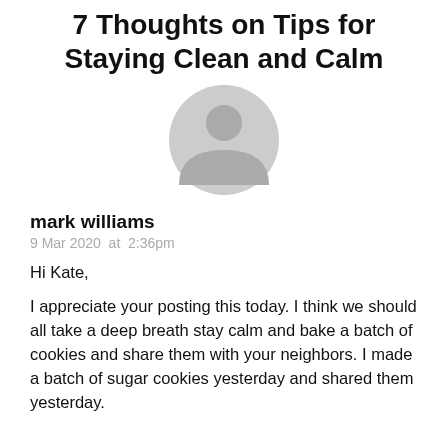7 Thoughts on Tips for Staying Clean and Calm
[Figure (illustration): Generic gray user avatar placeholder icon showing a person silhouette]
mark williams
9 Mar 2020  at  2:36pm
Hi Kate,
I appreciate your posting this today. I think we should all take a deep breath stay calm and bake a batch of cookies and share them with your neighbors. I made a batch of sugar cookies yesterday and shared them yesterday.